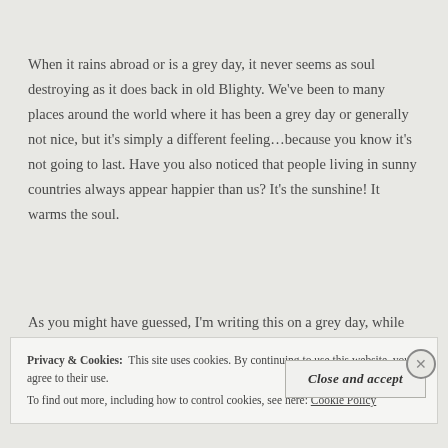When it rains abroad or is a grey day, it never seems as soul destroying as it does back in old Blighty. We've been to many places around the world where it has been a grey day or generally not nice, but it's simply a different feeling…because you know it's not going to last. Have you also noticed that people living in sunny countries always appear happier than us? It's the sunshine! It warms the soul.
As you might have guessed, I'm writing this on a grey day, while
Privacy & Cookies:  This site uses cookies. By continuing to use this website, you agree to their use.
To find out more, including how to control cookies, see here: Cookie Policy
Close and accept